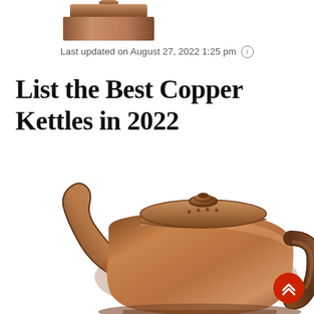[Figure (photo): Partial top view of a copper-colored kettle lid at the very top of the page]
Last updated on August 27, 2022 1:25 pm ⓘ
List the Best Copper Kettles in 2022
[Figure (photo): Large photo of a copper/bronze colored gooseneck pour-over kettle with a long curved spout, round knob lid, and ergonomic handle, viewed from a slight angle]